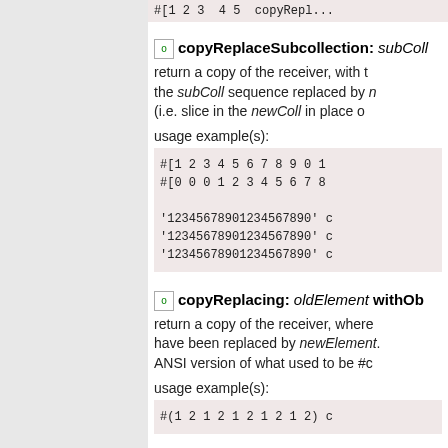[Figure (screenshot): Top partial code block with pink background (cut off at top)]
copyReplaceSubcollection: subColl — return a copy of the receiver, with the subColl sequence replaced by newColl (i.e. slice in the newColl in place of ...
usage example(s):
[Figure (screenshot): Code block: #[1 2 3 4 5 6 7 8 9 0 1 ... / #[0 0 0 1 2 3 4 5 6 7 8 ... / '12345678901234567890' c / '12345678901234567890' c / '12345678901234567890' c]
copyReplacing: oldElement withObject — return a copy of the receiver, where ... have been replaced by newElement. ANSI version of what used to be #c...
usage example(s):
[Figure (screenshot): Code block: #(1 2 1 2 1 2 1 2 1 2) c...]